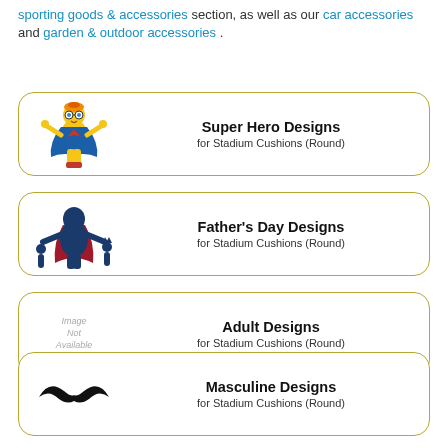sporting goods & accessories section, as well as our car accessories and garden & outdoor accessories .
[Figure (illustration): Super Hero character illustration - child in superhero costume]
Super Hero Designs for Stadium Cushions (Round)
[Figure (illustration): Father's Day illustration - superhero dad with children silhouettes]
Father's Day Designs for Stadium Cushions (Round)
[Figure (illustration): Image Not Available placeholder]
Adult Designs for Stadium Cushions (Round)
[Figure (illustration): Mustache illustration - black mustache icon]
Masculine Designs for Stadium Cushions (Round)